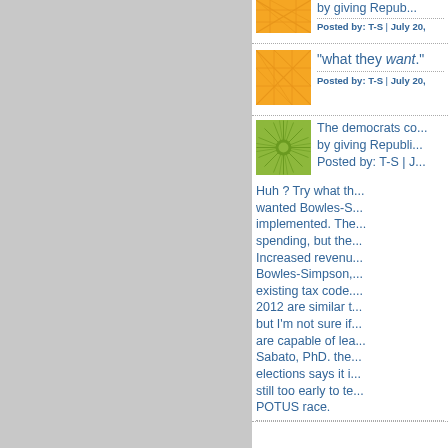[Figure (illustration): Orange geometric/network pattern avatar icon (top, partially visible)]
by giving Repub...
Posted by: T-S | July 20,...
[Figure (illustration): Orange geometric/network pattern avatar icon (second comment)]
"what they want."
Posted by: T-S | July 20,...
[Figure (illustration): Green sunburst/starburst pattern avatar icon (third comment)]
The democrats co... by giving Republi... Posted by: T-S | J...
Huh ? Try what th... wanted Bowles-S... implemented. The... spending, but the... Increased revenu... Bowles-Simpson,... existing tax code.... 2012 are similar t... but I'm not sure if... are capable of lea... Sabato, PhD. the... elections says it i... still too early to te... POTUS race.